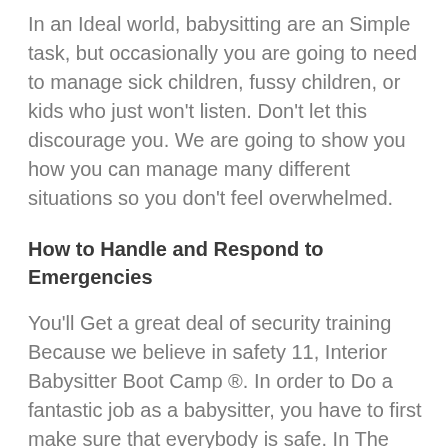In an Ideal world, babysitting are an Simple task, but occasionally you are going to need to manage sick children, fussy children, or kids who just won't listen. Don't let this discourage you. We are going to show you how you can manage many different situations so you don't feel overwhelmed.
How to Handle and Respond to Emergencies
You'll Get a great deal of security training Because we believe in safety 11, Interior Babysitter Boot Camp ®. In order to Do a fantastic job as a babysitter, you have to first make sure that everybody is safe. In The unlikely event of emergency or an